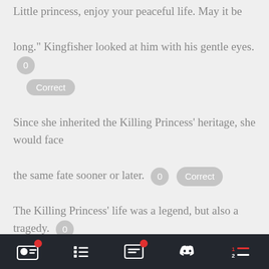Little princess, enjoy your peaceful life. May it be long." Kingfisher looked at him with his gentle eyes. 0
Correct
Since she inherited the Killing Princess' heritage, she would face the same fate sooner or later. 0 Correct
The Killing Princess' life was a legend, but also a tragedy. 0
Correct
She was once the most favorite princess, but she finally entered the non-human realm. 0 Correct
[Figure (screenshot): Bottom navigation bar with icons: profile card with red notification dot, list icon, document icon with red dot, Discord logo, numbered list icon in red/white]